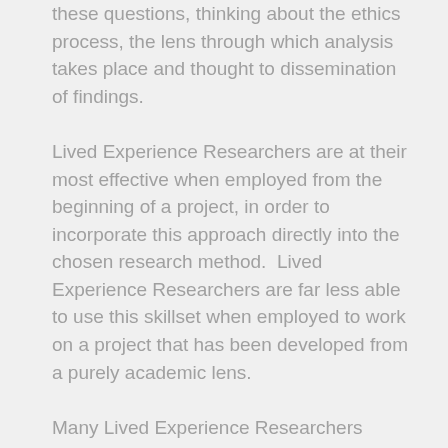these questions, thinking about the ethics process, the lens through which analysis takes place and thought to dissemination of findings.
Lived Experience Researchers are at their most effective when employed from the beginning of a project, in order to incorporate this approach directly into the chosen research method.  Lived Experience Researchers are far less able to use this skillset when employed to work on a project that has been developed from a purely academic lens.
Many Lived Experience Researchers have academic qualifications and working experience within their specialisms, in addition to the lived